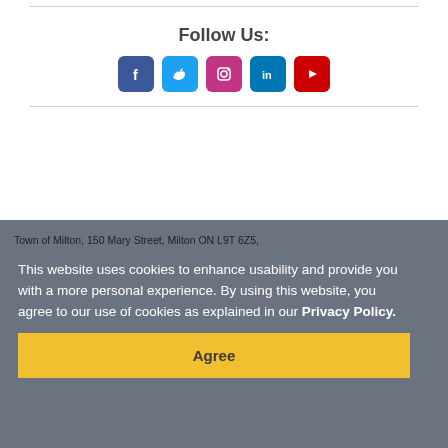Follow Us:
[Figure (illustration): Social media icons: Facebook, Twitter, Instagram, LinkedIn, YouTube]
Town of Milton, 150 Mary Street, Milton ON L9T 6Z5,
Phone: 905-878-7252
Accessibility
Freedom of Information and Protection of Privacy
Subscribe
This website uses cookies to enhance usability and provide you with a more personal experience. By using this website, you agree to our use of cookies as explained in our Privacy Policy.
Agree
Designed by eSolutionsGroup